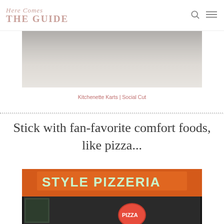Here Comes THE GUIDE
[Figure (photo): Top partial photo showing a tiled floor/pavement area, slightly out of frame, light gray tones]
Kitchenette Karts | Social Cut
Stick with fan-favorite comfort foods, like pizza...
[Figure (photo): Night photo of a pizzeria storefront with illuminated orange sign reading 'STYLE PIZZERIA', with a cartoon pizza character visible below]